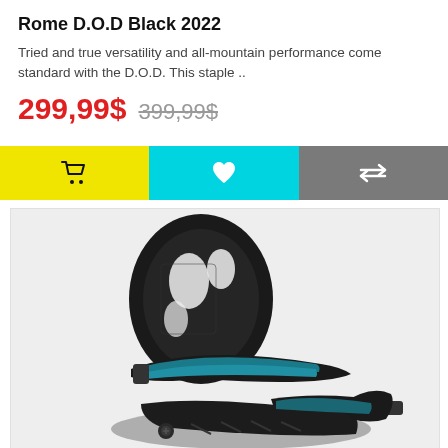Rome D.O.D Black 2022
Tried and true versatility and all-mountain performance come standard with the D.O.D. This staple ..
299,99$  399,99$
[Figure (other): Three action buttons: yellow cart button, cyan/turquoise heart/wishlist button, grey compare button]
[Figure (photo): Photo of a Rome D.O.D Black 2022 snowboard binding, showing a black binding with blue accents on a light grey background]